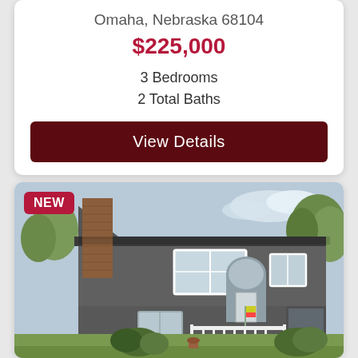Omaha, Nebraska 68104
$225,000
3 Bedrooms
2 Total Baths
View Details
[Figure (photo): Exterior photo of a split-level house with gray siding, brick chimney, arched front entry, white porch railing, and landscaping. A 'NEW' badge is overlaid in the top-left corner.]